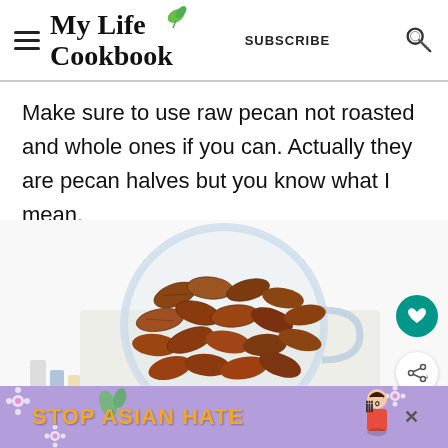My Life Cookbook | SUBSCRIBE
Make sure to use raw pecan not roasted and whole ones if you can. Actually they are pecan halves but you know what I mean.
[Figure (photo): Overhead photo of a glass measuring cup filled with raw pecan halves, placed on a white cloth, with some objects to the lower left including what appears to be a bookmark or card, and a colorful book/magazine underneath.]
[Figure (infographic): Purple advertisement banner at the bottom reading STOP ASIAN HATE with floral decoration and an illustrated woman character. X close button on the right side.]